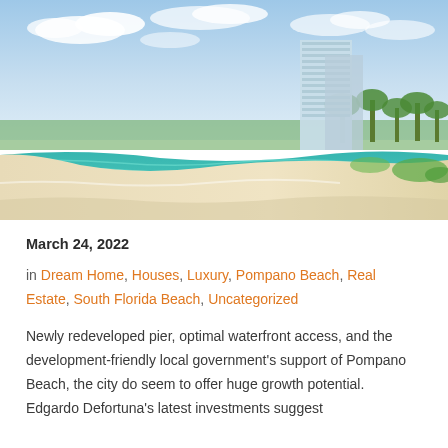[Figure (photo): Aerial view of a beautiful beach with white sand and turquoise water, with a modern high-rise luxury condominium building visible in the background surrounded by palm trees and greenery.]
March 24, 2022
in Dream Home, Houses, Luxury, Pompano Beach, Real Estate, South Florida Beach, Uncategorized
Newly redeveloped pier, optimal waterfront access, and the development-friendly local government's support of Pompano Beach, the city do seem to offer huge growth potential.  Edgardo Defortuna's latest investments suggest